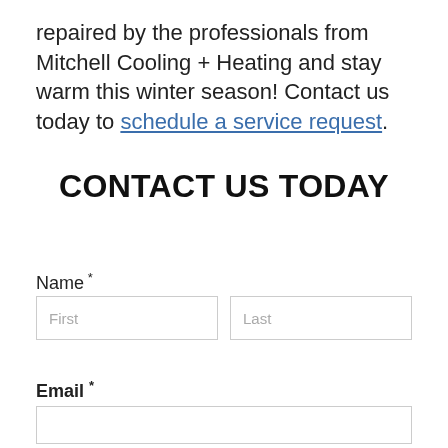repaired by the professionals from Mitchell Cooling + Heating and stay warm this winter season! Contact us today to schedule a service request.
CONTACT US TODAY
Name *
Email *